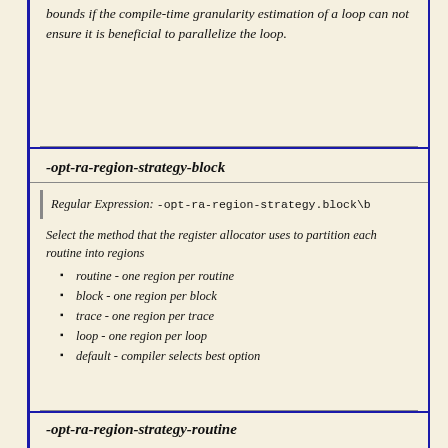bounds if the compile-time granularity estimation of a loop can not ensure it is beneficial to parallelize the loop.
-opt-ra-region-strategy-block
Regular Expression: -opt-ra-region-strategy.block\b
Select the method that the register allocator uses to partition each routine into regions
routine - one region per routine
block - one region per block
trace - one region per trace
loop - one region per loop
default - compiler selects best option
-opt-ra-region-strategy-routine